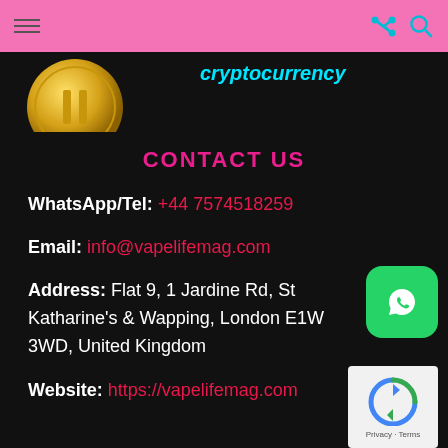VapeLifeMag - navigation bar with hamburger menu and share/search icons
[Figure (photo): Partial view of a gold cryptocurrency coin on black background with cyan italic text partially visible: 'cryptocurrency']
CONTACT US
WhatsApp/Tel: +44 7574518259
Email: info@vapelifemag.com
Address: Flat 9, 1 Jardine Rd, St Katharine's & Wapping, London E1W 3WD, United Kingdom
Website: https://vapelifemag.com
[Figure (logo): WhatsApp green rounded square icon with white phone handset]
[Figure (logo): reCAPTCHA badge with Privacy and Terms text]